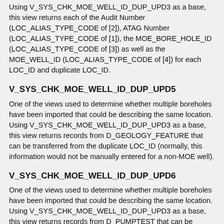Using V_SYS_CHK_MOE_WELL_ID_DUP_UPD3 as a base, this view returns each of the Audit Number (LOC_ALIAS_TYPE_CODE of [2]), ATAG Number (LOC_ALIAS_TYPE_CODE of [1]), the MOE_BORE_HOLE_ID (LOC_ALIAS_TYPE_CODE of [3]) as well as the MOE_WELL_ID (LOC_ALIAS_TYPE_CODE of [4]) for each LOC_ID and duplicate LOC_ID.
V_SYS_CHK_MOE_WELL_ID_DUP_UPD5
One of the views used to determine whether multiple boreholes have been imported that could be describing the same location. Using V_SYS_CHK_MOE_WELL_ID_DUP_UPD3 as a base, this view returns records from D_GEOLOGY_FEATURE that can be transferred from the duplicate LOC_ID (normally, this information would not be manually entered for a non-MOE well).
V_SYS_CHK_MOE_WELL_ID_DUP_UPD6
One of the views used to determine whether multiple boreholes have been imported that could be describing the same location. Using V_SYS_CHK_MOE_WELL_ID_DUP_UPD3 as a base, this view returns records from D_PUMPTEST that can be transferred